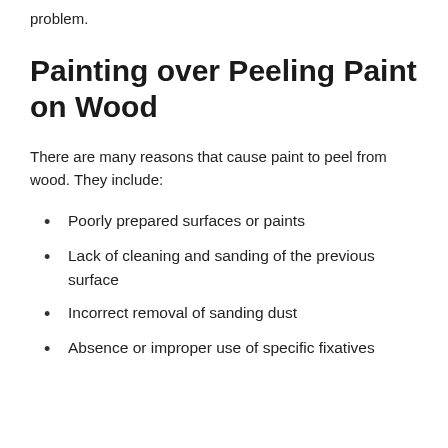problem.
Painting over Peeling Paint on Wood
There are many reasons that cause paint to peel from wood. They include:
Poorly prepared surfaces or paints
Lack of cleaning and sanding of the previous surface
Incorrect removal of sanding dust
Absence or improper use of specific fixatives